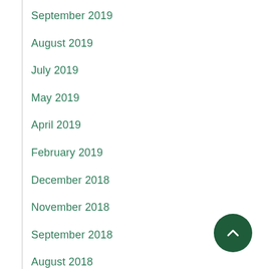September 2019
August 2019
July 2019
May 2019
April 2019
February 2019
December 2018
November 2018
September 2018
August 2018
June 2018